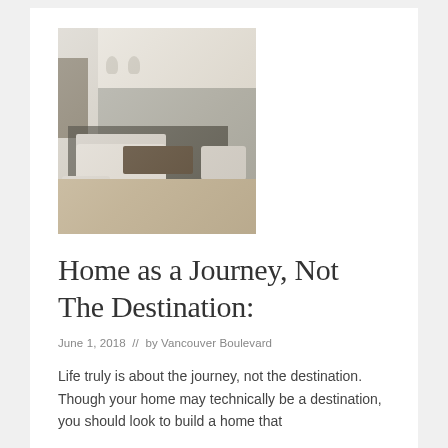[Figure (photo): Interior photo of a bright, open-plan living room with white sofas, dark coffee table, pendant lights, coffered ceiling, and a dark rug on a light tile floor.]
Home as a Journey, Not The Destination:
June 1, 2018  //  by Vancouver Boulevard
Life truly is about the journey, not the destination. Though your home may technically be a destination, you should look to build a home that